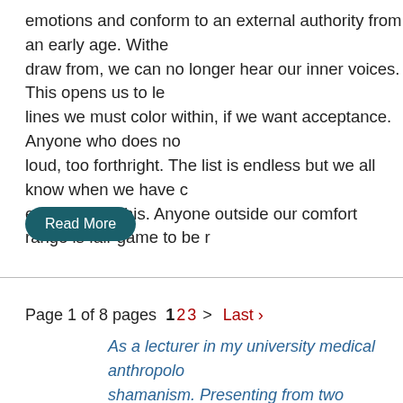emotions and conform to an external authority from an early age. Withe draw from, we can no longer hear our inner voices. This opens us to le lines we must color within, if we want acceptance. Anyone who does no loud, too forthright. The list is endless but we all know when we have c extension of this. Anyone outside our comfort range is fair game to be r
Read More
Page 1 of 8 pages  1 2 3 >  Last ›
As a lecturer in my university medical anthropolo shamanism. Presenting from two different but co physics with traditional wisdom and so speaks to talk and their experience of the guided journey C